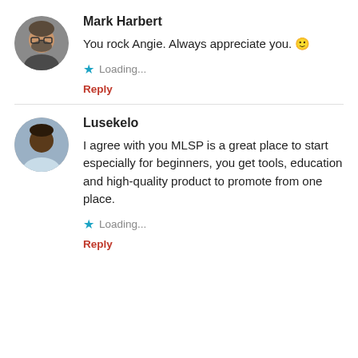[Figure (photo): Circular avatar photo of Mark Harbert, a man with glasses and beard]
Mark Harbert
You rock Angie. Always appreciate you. 🙂
Loading...
Reply
[Figure (photo): Circular avatar photo of Lusekelo, a man in a light blue shirt]
Lusekelo
I agree with you MLSP is a great place to start especially for beginners, you get tools, education and high-quality product to promote from one place.
Loading...
Reply